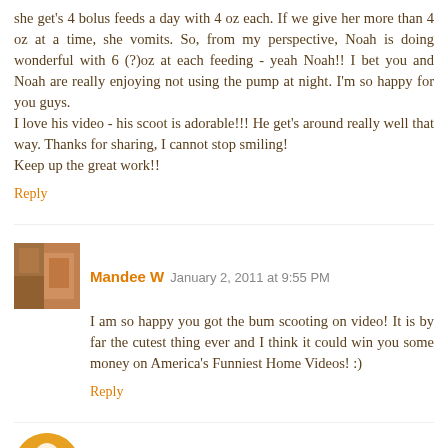she get's 4 bolus feeds a day with 4 oz each. If we give her more than 4 oz at a time, she vomits. So, from my perspective, Noah is doing wonderful with 6 (?)oz at each feeding - yeah Noah!! I bet you and Noah are really enjoying not using the pump at night. I'm so happy for you guys.
I love his video - his scoot is adorable!!! He get's around really well that way. Thanks for sharing, I cannot stop smiling!
Keep up the great work!!
Reply
Mandee W  January 2, 2011 at 9:55 PM
I am so happy you got the bum scooting on video! It is by far the cutest thing ever and I think it could win you some money on America's Funniest Home Videos! :)
Reply
Dykstras  January 3, 2011 at 8:10 AM